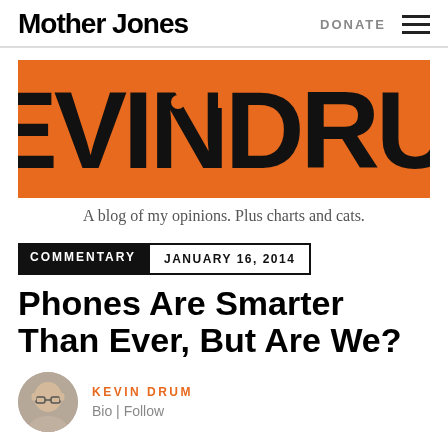Mother Jones | DONATE
[Figure (logo): Kevin Drum blog banner — orange background with large stylized black text 'KEVIN DRUM']
A blog of my opinions. Plus charts and cats.
COMMENTARY  JANUARY 16, 2014
Phones Are Smarter Than Ever, But Are We?
KEVIN DRUM
Bio | Follow